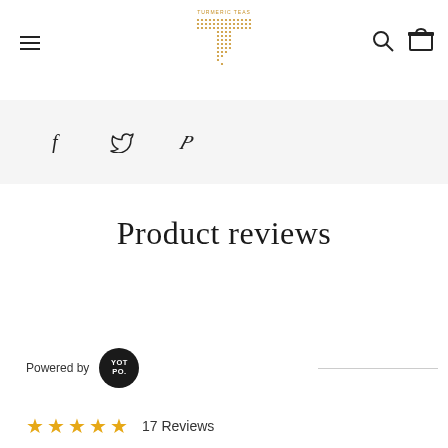[Figure (logo): Turmeric Teas logo — dotted letter T in golden/amber color with 'TURMERIC TEAS' text above]
[Figure (infographic): Social share bar with Facebook (f), Twitter (bird), and Pinterest (P) icons on light grey background]
Product reviews
Powered by [YOT PO. badge]
17 Reviews